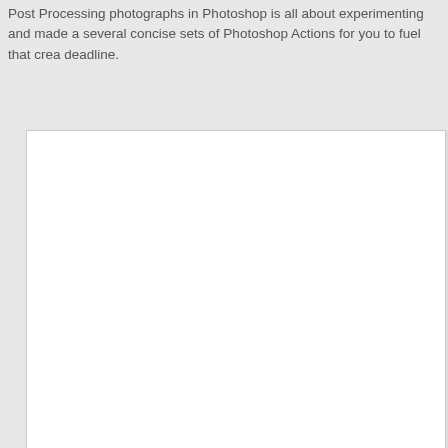Post Processing photographs in Photoshop is all about experimenting and made a several concise sets of Photoshop Actions for you to fuel that crea deadline.
[Figure (other): White rectangular panel/canvas area, mostly blank white space with a light border, representing an embedded document or image preview area.]